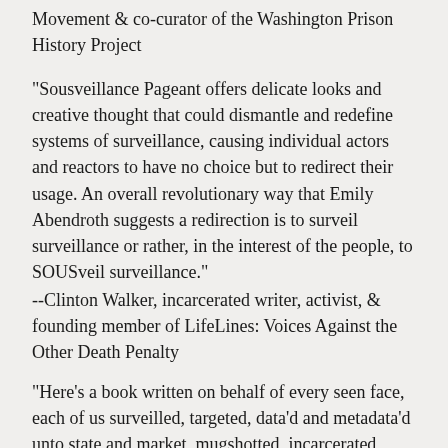Movement & co-curator of the Washington Prison History Project
"Sousveillance Pageant offers delicate looks and creative thought that could dismantle and redefine systems of surveillance, causing individual actors and reactors to have no choice but to redirect their usage. An overall revolutionary way that Emily Abendroth suggests a redirection is to surveil surveillance or rather, in the interest of the people, to SOUSveil surveillance."
--Clinton Walker, incarcerated writer, activist, & founding member of LifeLines: Voices Against the Other Death Penalty
"Here’s a book written on behalf of every seen face, each of us surveilled, targeted, data’d and metadata’d unto state and market, mugshotted, incarcerated, known by heat trace and GPS. Abendroth has written an extraordinary essay/fiction, heedless of genre’s limits, tumbling with joyful desperate exuberance from analysis to care to theorization to performance art to pun to